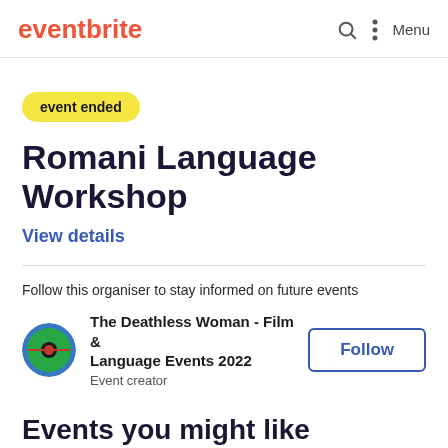eventbrite
event ended
Romani Language Workshop
View details
Follow this organiser to stay informed on future events
The Deathless Woman - Film & Language Events 2022
Event creator
Events you might like